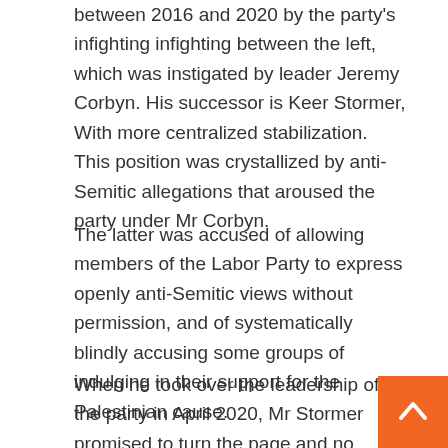between 2016 and 2020 by the party's infighting infighting between the left, which was instigated by leader Jeremy Corbyn. His successor is Keer Stormer, With more centralized stabilization. This position was crystallized by anti-Semitic allegations that aroused the party under Mr Corbyn.
The latter was accused of allowing members of the Labor Party to express openly anti-Semitic views without permission, and of systematically blindly accusing some groups of indulging in their support for the Palestinian cause.
When he took over the leadership of the party in April 2020, Mr Stormer promised to turn the page and no longer tolerate such comments. But his opponents accuse him of using this weapon to clean up his left side. In October 2020, following a statement